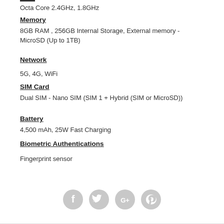Octa Core 2.4GHz, 1.8GHz
Memory
8GB RAM , 256GB Internal Storage, External memory - MicroSD (Up to 1TB)
Network
5G, 4G, WiFi
SIM Card
Dual SIM - Nano SIM (SIM 1 + Hybrid (SIM or MicroSD))
Battery
4,500 mAh, 25W Fast Charging
Biometric Authentications
Fingerprint sensor
[Figure (illustration): Social media icons: Facebook, Twitter, Google+, Pinterest]